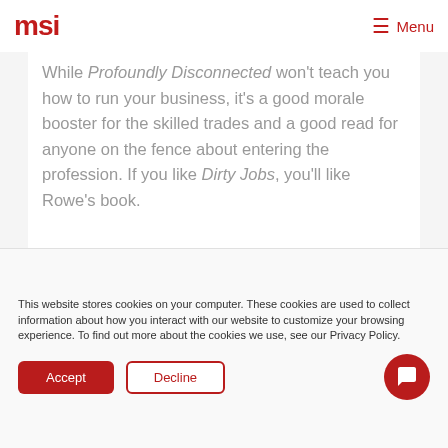msi  Menu
While Profoundly Disconnected won't teach you how to run your business, it's a good morale booster for the skilled trades and a good read for anyone on the fence about entering the profession. If you like Dirty Jobs, you'll like Rowe's book.
This website stores cookies on your computer. These cookies are used to collect information about how you interact with our website to customize your browsing experience. To find out more about the cookies we use, see our Privacy Policy.
Accept  Decline